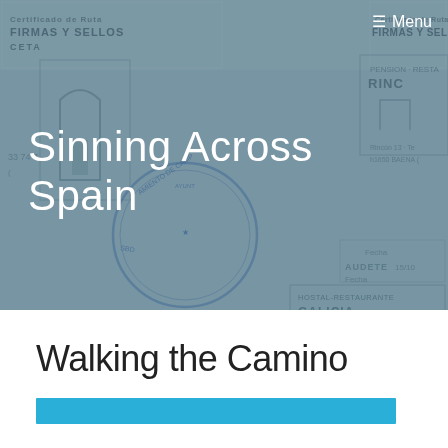[Figure (photo): Background image of a pilgrim credential (credencial) with multiple stamps from various places in Spain, including Hostal-Restaurante Galicia, Lakeview Hotel, Asoc. Vecinos Ntra. Sra. de la Inmaculada de Grenaldo, and other stamps. The image has a blue-teal toned overlay.]
≡ Menu
Sinning Across Spain
Walking the Camino